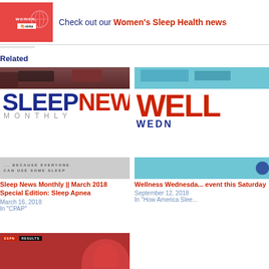[Figure (illustration): Women's Sleep Health newsletter banner with red background image showing women text and NHLBI logo]
Check out our Women's Sleep Health news...
Related
[Figure (illustration): Sleep News Monthly newsletter cover with dog photo on top, large SLEEP NEWS MONTHLY text, and because everyone can use some sleep tagline]
Sleep News Monthly || March 2018 Special Edition: Sleep Apnea
March 16, 2018
In "CPAP"
[Figure (illustration): Wellness Wednesday newsletter cover with teal/blue background, large WELL text in red, WEDN text in navy]
Wellness Wednesday event this Saturday
September 12, 2018
In "How America Slee..."
[Figure (photo): Third newsletter image showing red and news results overlay at bottom of page]